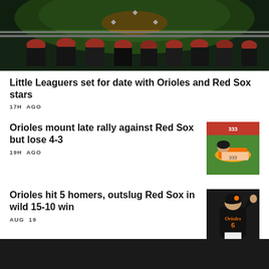[Figure (photo): Baseball stadium scene viewed from dugout level, players in dark uniforms with red batting helmets sitting along dugout railing, green field and diamond visible in background]
Little Leaguers set for date with Orioles and Red Sox stars
17H AGO
Orioles mount late rally against Red Sox but lose 4-3
[Figure (photo): Baseball player in orange and black Orioles uniform sliding or diving on green field]
19H AGO
Orioles hit 5 homers, outslug Red Sox in wild 15-10 win
[Figure (photo): Baltimore Orioles player number 6 in black uniform celebrating, fist pump gesture]
AUG 19